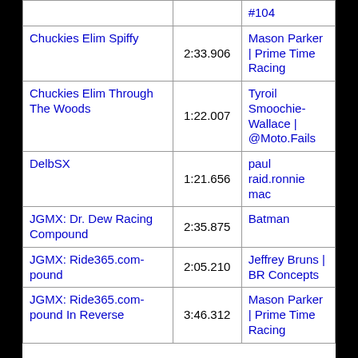| Track | Time | Rider |
| --- | --- | --- |
|  | #104 |  |
| Chuckies Elim Spiffy | 2:33.906 | Mason Parker | Prime Time Racing |
| Chuckies Elim Through The Woods | 1:22.007 | Tyroil Smoochie-Wallace | @Moto.Fails |
| DelbSX | 1:21.656 | paul raid.ronnie mac |
| JGMX: Dr. Dew Racing Compound | 2:35.875 | Batman |
| JGMX: Ride365.com-pound | 2:05.210 | Jeffrey Bruns | BR Concepts |
| JGMX: Ride365.com-pound In Reverse | 3:46.312 | Mason Parker | Prime Time Racing |